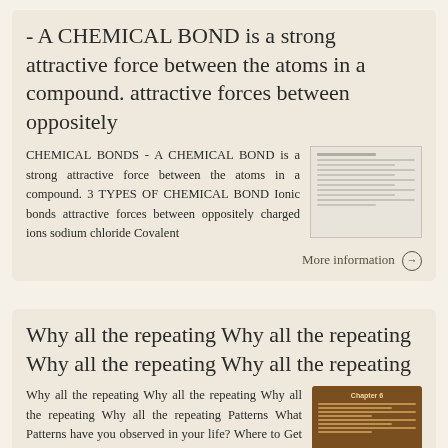- A CHEMICAL BOND is a strong attractive force between the atoms in a compound. attractive forces between oppositely
CHEMICAL BONDS - A CHEMICAL BOND is a strong attractive force between the atoms in a compound. 3 TYPES OF CHEMICAL BOND Ionic bonds attractive forces between oppositely charged ions sodium chloride Covalent
[Figure (table-as-image): Small thumbnail image showing a table with rows and columns of data about chemical bonds]
More information →
Why all the repeating Why all the repeating Why all the repeating Why all the repeating
Why all the repeating Why all the repeating Why all the repeating Why all the repeating Patterns What Patterns have you observed in your life? Where to Get Help If you don t
[Figure (photo): Brown book cover thumbnail showing Chapter 6 title with table content inside]